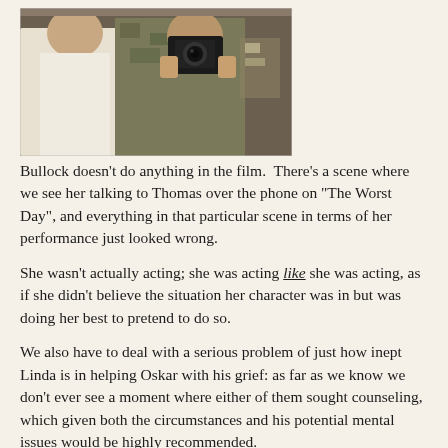[Figure (photo): Two people, one in a white shirt and one in military/camouflage clothing holding a camera up to their face, appearing to take a photo. Indoor setting.]
Bullock doesn't do anything in the film. There's a scene where we see her talking to Thomas over the phone on "The Worst Day", and everything in that particular scene in terms of her performance just looked wrong.

She wasn't actually acting; she was acting like she was acting, as if she didn't believe the situation her character was in but was doing her best to pretend to do so.

We also have to deal with a serious problem of just how inept Linda is in helping Oskar with his grief: as far as we know we don't ever see a moment where either of them sought counseling, which given both the circumstances and his potential mental issues would be highly recommended.

It is unfair to go after Horn for his robotic interpretation of Oskar. He's not an actor, and perhaps he may never act again. However,